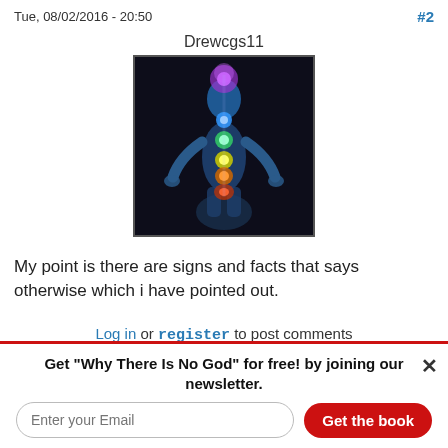Tue, 08/02/2016 - 20:50    #2
Drewcgs11
[Figure (illustration): A 3D rendered human figure on a dark background with glowing chakra energy points along the body center: purple at head, blue at throat, green at chest, yellow at solar plexus, orange at abdomen, red at base. The figure's skin has a blue-gray metallic sheen with arms slightly outstretched.]
My point is there are signs and facts that says otherwise which i have pointed out.
Log in or register to post comments
Get "Why There Is No God" for free! by joining our newsletter.